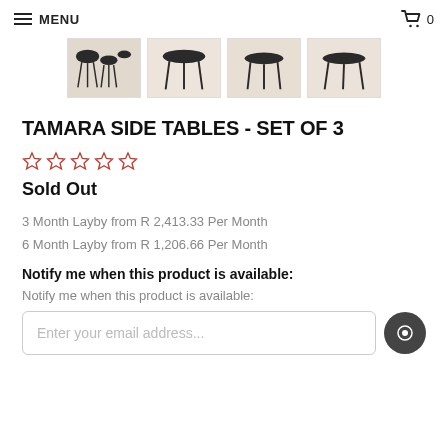MENU | Cart 0
[Figure (photo): Four thumbnail images of Tamara Side Tables set of 3, showing different angles on a light wood floor background]
TAMARA SIDE TABLES - SET OF 3
☆☆☆☆☆ (star rating, 0 reviews)
Sold Out
3 Month Layby from R 2,413.33 Per Month
6 Month Layby from R 1,206.66 Per Month
Notify me when this product is available:
Notify me when this product is available:
Enter your email address...